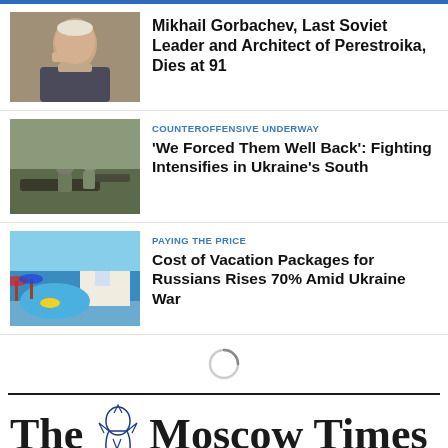[Figure (photo): Photo of Mikhail Gorbachev, elderly man in dark suit with hand near face]
Mikhail Gorbachev, Last Soviet Leader and Architect of Perestroika, Dies at 91
[Figure (photo): Soldiers operating artillery equipment in Ukraine]
COUNTEROFFENSIVE UNDERWAY
'We Forced Them Well Back': Fighting Intensifies in Ukraine's South
[Figure (photo): Resort pool with blue water and white buildings near sea]
PAYING THE PRICE
Cost of Vacation Packages for Russians Rises 70% Amid Ukraine War
[Figure (other): Loading spinner circle icon]
The Moscow Times — 30 YEARS — INDEPENDENT NEWS FROM RUSSIA